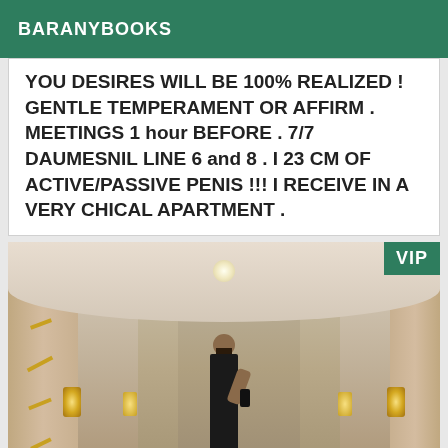BARANYBOOKS
YOU DESIRES WILL BE 100% REALIZED ! GENTLE TEMPERAMENT OR AFFIRM . MEETINGS 1 hour BEFORE . 7/7 DAUMESNIL LINE 6 and 8 . I 23 CM OF ACTIVE/PASSIVE PENIS !!! I RECEIVE IN A VERY CHICAL APARTMENT .
[Figure (photo): Person taking a mirror selfie in an ornate corridor with arched ceiling, wall sconces, and decorative pillars. VIP badge in top-right corner.]